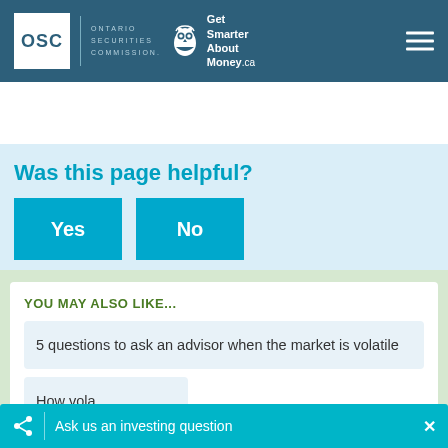OSC | Ontario Securities Commission | Get Smarter About Money.ca
Was this page helpful?
Yes
No
YOU MAY ALSO LIKE...
5 questions to ask an advisor when the market is volatile
How vola
Ask us an investing question